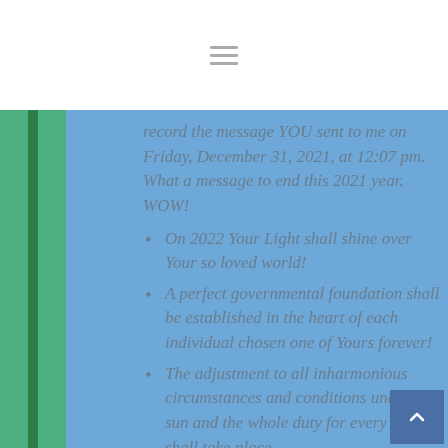record the message YOU sent to me on Friday, December 31, 2021, at 12:07 pm. What a message to end this 2021 year. WOW!
On 2022 Your Light shall shine over Your so loved world!
A perfect governmental foundation shall be established in the heart of each individual chosen one of Yours forever!
The adjustment to all inharmonious circumstances and conditions under the sun and the whole duty for every man shall take place.
Harmony. The evidence of the things not seen shall prevail in...